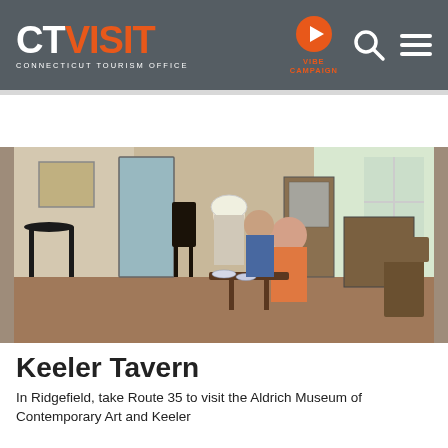CT VISIT CONNECTICUT TOURISM OFFICE | VIBE CAMPAIGN
[Figure (photo): Interior of Keeler Tavern showing two women, one in colonial costume with a bonnet, examining items on a small table. Colonial-era furnishings including Windsor chairs, a corner cabinet with blue-and-white dishes, a secretary desk, and a framed painting on the wall.]
Keeler Tavern
In Ridgefield, take Route 35 to visit the Aldrich Museum of Contemporary Art and Keeler